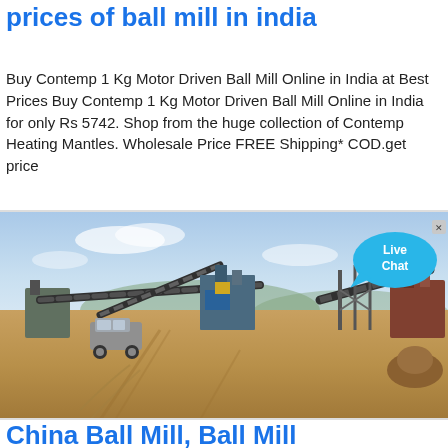prices of ball mill in india
Buy Contemp 1 Kg Motor Driven Ball Mill Online in India at Best Prices Buy Contemp 1 Kg Motor Driven Ball Mill Online in India for only Rs 5742. Shop from the huge collection of Contemp Heating Mantles. Wholesale Price FREE Shipping* COD.get price
[Figure (photo): Outdoor industrial ball mill / mining equipment site in India with conveyor belts, machinery, a van, and sandy terrain under a hazy sky. A 'Live Chat' speech bubble overlay appears in the upper right corner.]
China Ball Mill, Ball Mill Manufacturers, Suppliers, Prices...